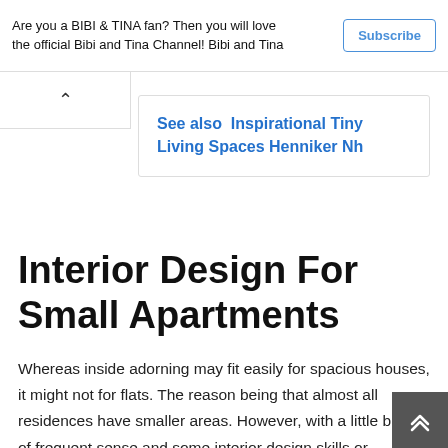Are you a BIBI & TINA fan? Then you will love the official Bibi and Tina Channel! Bibi and Tina
See also  Inspirational Tiny Living Spaces Henniker Nh
Interior Design For Small Apartments
Whereas inside adorning may fit easily for spacious houses, it might not for flats. The reason being that almost all residences have smaller areas. However, with a little bit bit of frequent sense and some interior design skills or concepts, remodeling your tiny place into a fully purposeful and delightful home might not be too difficult at all.